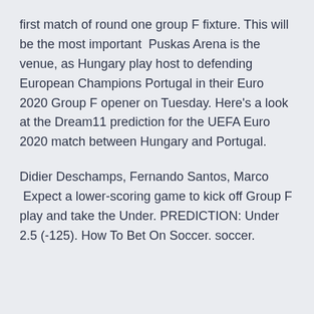first match of round one group F fixture. This will be the most important  Puskas Arena is the venue, as Hungary play host to defending European Champions Portugal in their Euro 2020 Group F opener on Tuesday. Here's a look at the Dream11 prediction for the UEFA Euro 2020 match between Hungary and Portugal.
Didier Deschamps, Fernando Santos, Marco  Expect a lower-scoring game to kick off Group F play and take the Under. PREDICTION: Under 2.5 (-125). How To Bet On Soccer. soccer.